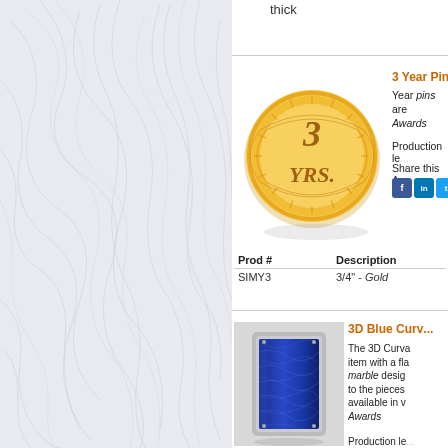[Figure (photo): Marble texture background panel on the left side of the page]
thick
3 Year Pin Sa...
[Figure (photo): Gold circular pin embossed with '3 YRS.' text]
Year pins are... Awards
Production le...
Share this Aw...
| Prod # | Description |
| --- | --- |
| SIMY3 | 3/4" - Gold |
3D Blue Curv...
[Figure (photo): 3D blue curved award with marble design in silver frame]
The 3D Curva... item with a fla... marble desig... to the pieces ... available in v... Awards
Production le...